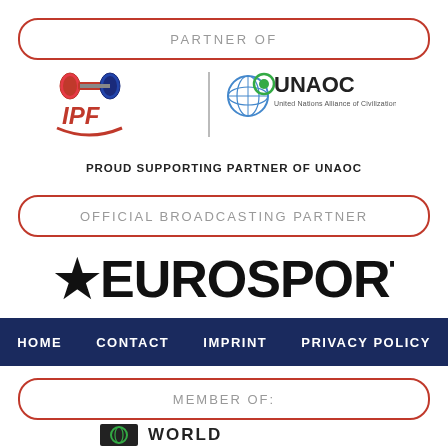PARTNER OF
[Figure (logo): IPF logo (powerlifting barbell icon with red/blue text) and UNAOC logo (UN globe emblem with text United Nations Alliance of Civilizations)]
PROUD SUPPORTING PARTNER OF UNAOC
OFFICIAL BROADCASTING PARTNER
[Figure (logo): Eurosport logo - large black text with star bullet character]
HOME  CONTACT  IMPRINT  PRIVACY POLICY
MEMBER OF:
[Figure (logo): World logo partial - black box with green icon and WORLD text]